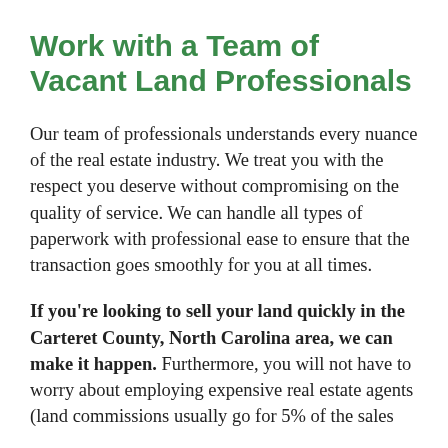Work with a Team of Vacant Land Professionals
Our team of professionals understands every nuance of the real estate industry. We treat you with the respect you deserve without compromising on the quality of service. We can handle all types of paperwork with professional ease to ensure that the transaction goes smoothly for you at all times.
If you're looking to sell your land quickly in the Carteret County, North Carolina area, we can make it happen. Furthermore, you will not have to worry about employing expensive real estate agents (land commissions usually go for 5% of the sales